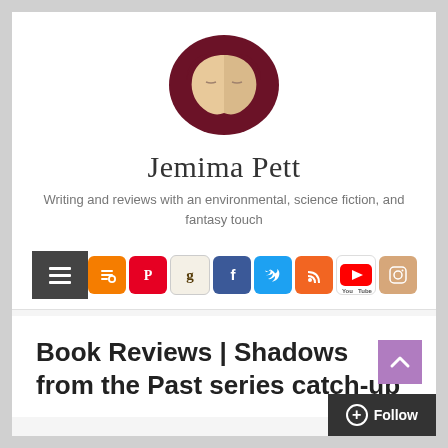[Figure (logo): Oval logo with two face profiles in dark maroon and beige tones]
Jemima Pett
Writing and reviews with an environmental, science fiction, and fantasy touch
[Figure (screenshot): Navigation bar with hamburger menu button and social media icons: Blogger, Pinterest, Goodreads, Facebook, Twitter, RSS, YouTube, Instagram]
Book Reviews | Shadows from the Past series catch-up